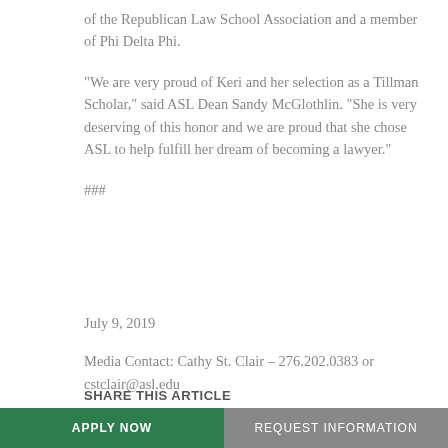of the Republican Law School Association and a member of Phi Delta Phi.
“We are very proud of Keri and her selection as a Tillman Scholar,” said ASL Dean Sandy McGlothlin. “She is very deserving of this honor and we are proud that she chose ASL to help fulfill her dream of becoming a lawyer.”
###
July 9, 2019
Media Contact: Cathy St. Clair – 276.202.0383 or cstclair@asl.edu
SHARE THIS ARTICLE
[Figure (other): Social media share icons: Facebook, Twitter, LinkedIn]
APPLY NOW
REQUEST INFORMATION